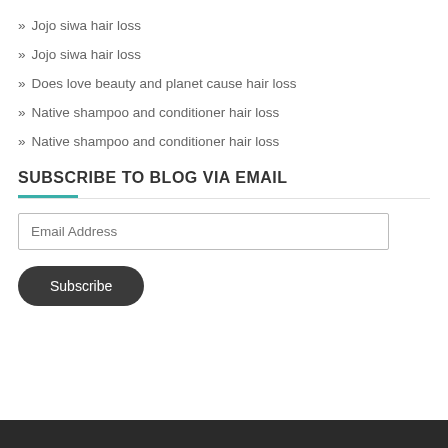» Jojo siwa hair loss
» Jojo siwa hair loss
» Does love beauty and planet cause hair loss
» Native shampoo and conditioner hair loss
» Native shampoo and conditioner hair loss
SUBSCRIBE TO BLOG VIA EMAIL
Email Address
Subscribe